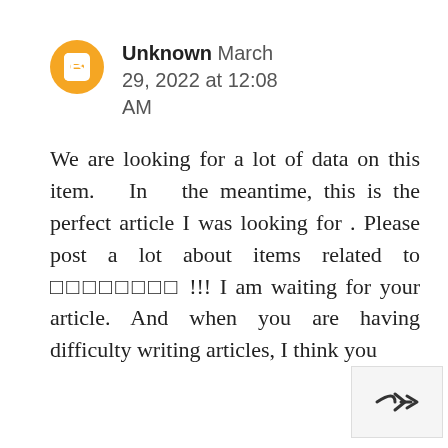[Figure (illustration): Orange circular Blogger avatar icon with white 'B' letter in center]
Unknown March 29, 2022 at 12:08 AM
We are looking for a lot of data on this item. In the meantime, this is the perfect article I was looking for . Please post a lot about items related to ░░░░░░░░ !!! I am waiting for your article. And when you are having difficulty writing articles, I think you